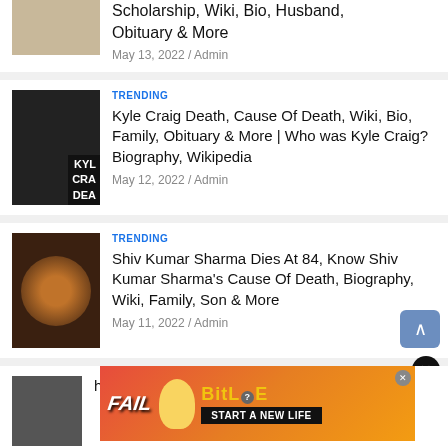[Figure (photo): Partial card at top showing a woman with blonde hair thumbnail and article title snippet]
Scholarship, Wiki, Bio, Husband, Obituary & More
May 13, 2022 / Admin
TRENDING
[Figure (photo): Thumbnail photo of Kyle Craig with dark starry background and text overlay KYL CRAI DEA]
Kyle Craig Death, Cause Of Death, Wiki, Bio, Family, Obituary & More | Who was Kyle Craig? Biography, Wikipedia
May 12, 2022 / Admin
TRENDING
[Figure (photo): Thumbnail photo of elderly musician Shiv Kumar Sharma playing santoor]
Shiv Kumar Sharma Dies At 84, Know Shiv Kumar Sharma's Cause Of Death, Biography, Wiki, Family, Son & More
May 11, 2022 / Admin
[Figure (screenshot): BitLife advertisement banner with FAIL text, cartoon woman, flames and START A NEW LIFE call to action]
[Figure (photo): Partial card at bottom showing a man's photo thumbnail and partial title about Vicky White's cause of death]
cause of death? Know Vicky White's